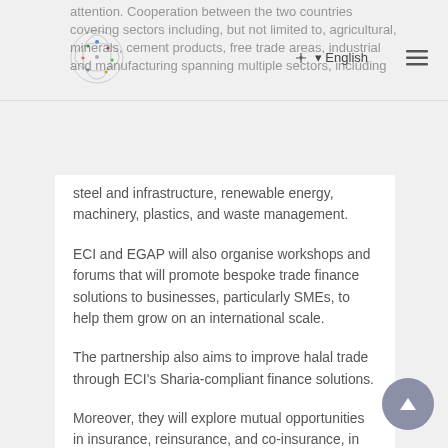English
steel and infrastructure, renewable energy, machinery, plastics, and waste management.
ECI and EGAP will also organise workshops and forums that will promote bespoke trade finance solutions to businesses, particularly SMEs, to help them grow on an international scale.
The partnership also aims to improve halal trade through ECI's Sharia-compliant finance solutions.
Moreover, they will explore mutual opportunities in insurance, reinsurance, and co-insurance, in addition to exchanging expertise and best practices concerning commercial underwriting, risk management, country assessment, claims and recovery.
Commenting on the agreement, Massimo Falcioni, CEO of ECI, said, "ECI's collaboration with the export credit agency of Saudi Arabia will..."